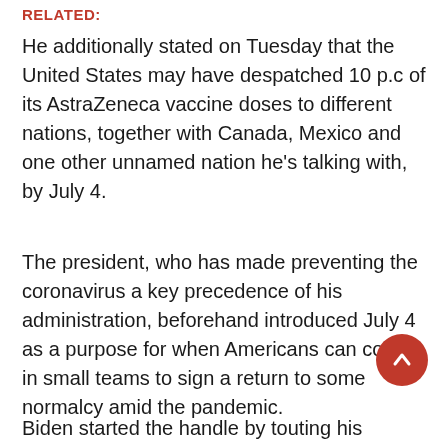RELATED:
He additionally stated on Tuesday that the United States may have despatched 10 p.c of its AstraZeneca vaccine doses to different nations, together with Canada, Mexico and one other unnamed nation he’s talking with, by July 4.
The president, who has made preventing the coronavirus a key precedence of his administration, beforehand introduced July 4 as a purpose for when Americans can collect in small teams to sign a return to some normalcy amid the pandemic.
Biden started the handle by touting his